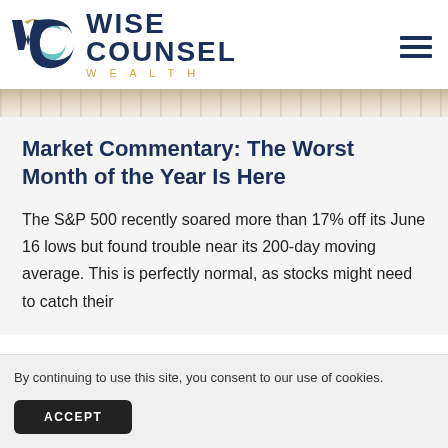WISE COUNSEL WEALTH
Market Commentary: The Worst Month of the Year Is Here
The S&P 500 recently soared more than 17% off its June 16 lows but found trouble near its 200-day moving average. This is perfectly normal, as stocks might need to catch their
By continuing to use this site, you consent to our use of cookies.